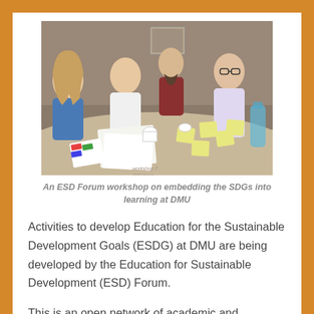[Figure (photo): People seated around a table in a workshop setting, working with papers and sticky notes. An ESD Forum workshop on embedding the SDGs into learning at DMU.]
An ESD Forum workshop on embedding the SDGs into learning at DMU
Activities to develop Education for the Sustainable Development Goals (ESDG) at DMU are being developed by the Education for Sustainable Development (ESD) Forum.
This is an open network of academic and professional services staff working with De Montfort Students Union. The forum is co-ordinated by Dr Andrew Reeves and Karl Letten